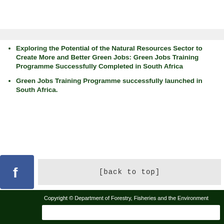Exploring the Potential of the Natural Resources Sector to Create More and Better Green Jobs: Green Jobs Training Programme Successfully Completed in South Africa
Green Jobs Training Programme successfully launched in South Africa.
[back to top]
Copyright © Department of Forestry, Fisheries and the Environment